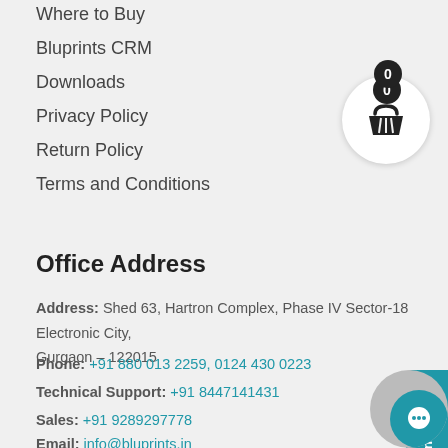Where to Buy
Bluprints CRM
Downloads
Privacy Policy
Return Policy
Terms and Conditions
Office Address
Address: Shed 63, Hartron Complex, Phase IV Sector-18 Electronic City, Gurgaon – 122015
Phone: +91 880 013 2259, 0124 430 0223
Technical Support: +91 8447141431
Sales: +91 9289297778
Email: info@bluprints.in
[Figure (illustration): Shopping basket icon with badge showing 0]
[Figure (illustration): Contact Us vertical tab on right side]
[Figure (illustration): Chat bubble icon at bottom right]